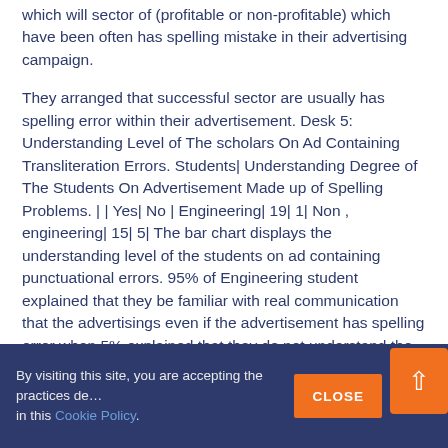which will sector of (profitable or non‑profitable) which have been often has spelling mistake in their advertising campaign.
They arranged that successful sector are usually has spelling error within their advertisement. Desk 5: Understanding Level of The scholars On Ad Containing Transliteration Errors. Students| Understanding Degree of The Students On Advertisement Made up of Spelling Problems. | | Yes| No | Engineering| 19| 1| Non , engineering| 15| 5| The bar chart displays the understanding level of the students on ad containing punctuational errors. 95% of Engineering student explained that they be familiar with real communication that the advertisings even if the advertisement has spelling error when 5% explained that they do not understand the ads.
For nonengineering students, 74% of nonengineering student stated that they understand the real communication that the ads even if the advertisement has punctuational error whilst 25%
By visiting this site, you are accepting the practices described in this Cookie Policy. CLOSE